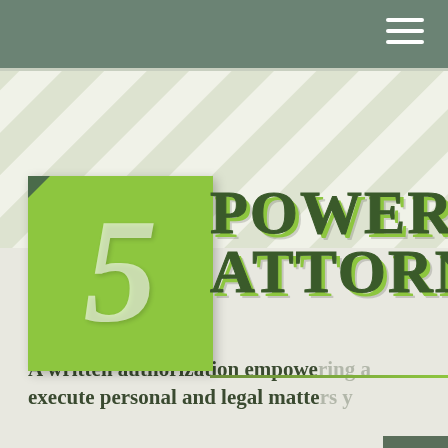[Figure (infographic): Infographic title page showing the number 5 in a green box with decorative diagonal stripes background, and the text 'POWER OF ATTORNEY' in large outlined serif font. Below is bold text: 'A written authorization empowering a [person to] execute personal and legal matters on y[our behalf]']